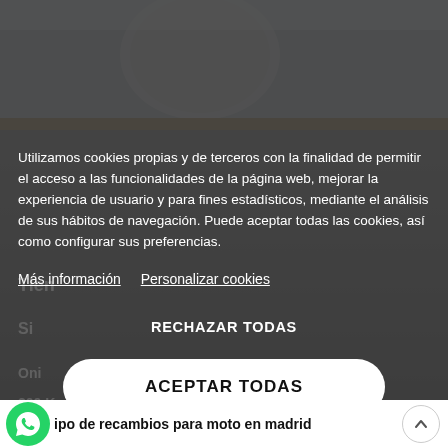[Figure (screenshot): Cookie consent modal overlay on a Spanish motorcycle parts website. Background shows a partially visible shop/website with helmet images. A dark semi-transparent overlay covers the background. The modal contains cookie consent text in Spanish, two links (Más información, Personalizar cookies), a RECHAZAR TODAS button, and a prominent ACEPTAR TODAS button. At the bottom is a white bar with a WhatsApp icon and text about motorcycle spare parts in Madrid.]
Utilizamos cookies propias y de terceros con la finalidad de permitir el acceso a las funcionalidades de la página web, mejorar la experiencia de usuario y para fines estadísticos, mediante el análisis de sus hábitos de navegación. Puede aceptar todas las cookies, así como configurar sus preferencias.
Más información   Personalizar cookies
RECHAZAR TODAS
ACEPTAR TODAS
tipo de recambios para moto en madrid